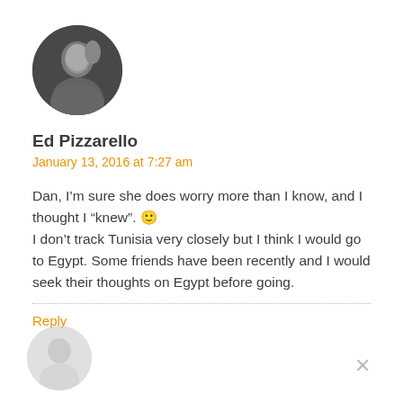[Figure (photo): Circular avatar photo of Ed Pizzarello, a man in a dark jacket, black and white photo]
Ed Pizzarello
January 13, 2016 at 7:27 am
Dan, I’m sure she does worry more than I know, and I thought I “knew”. 🙂
I don’t track Tunisia very closely but I think I would go to Egypt. Some friends have been recently and I would seek their thoughts on Egypt before going.
Reply